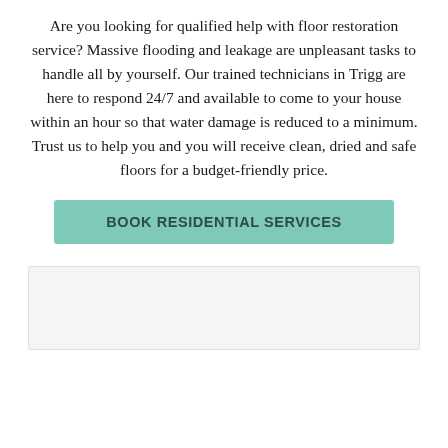Are you looking for qualified help with floor restoration service? Massive flooding and leakage are unpleasant tasks to handle all by yourself. Our trained technicians in Trigg are here to respond 24/7 and available to come to your house within an hour so that water damage is reduced to a minimum. Trust us to help you and you will receive clean, dried and safe floors for a budget-friendly price.
BOOK RESIDENTIAL SERVICES